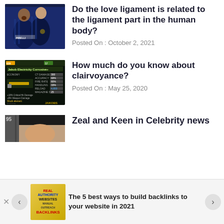[Figure (photo): Two soccer players in Inter Milan dark blue jerseys celebrating, one with mouth open shouting]
Do the love ligament is related to the ligament part in the human body?
Posted On : October 2, 2021
[Figure (screenshot): Video game screenshot showing weapon stats card with dark background and yellow/gold details]
How much do you know about clairvoyance?
Posted On : May 25, 2020
[Figure (photo): Celebrity photo showing a woman with black bangs, partially cropped]
Zeal and Keen in Celebrity news
[Figure (photo): Ad thumbnail: Real Authority Websites Manual Outreach Backlinks book cover]
The 5 best ways to build backlinks to your website in 2021